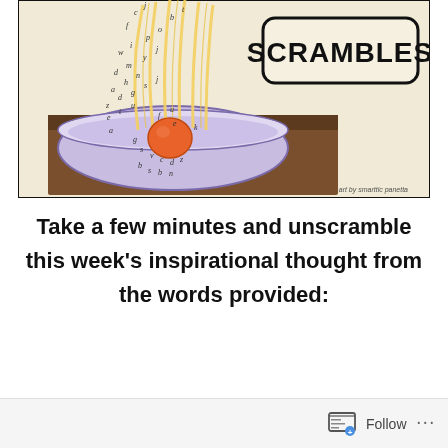[Figure (illustration): Illustration of a bowl of noodles/spaghetti with letters scattered throughout the noodles, and an orange element in the center. To the right, a rounded rectangle box with bold text reading 'SCRAMBLES'. Brown table surface beneath the bowl. Caption reads 'art by smarttic panetta' in lower right.]
Take a few minutes and unscramble this week's inspirational thought from the words provided:
Follow ...